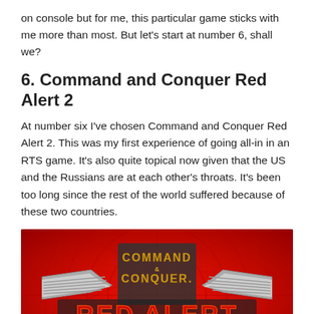on console but for me, this particular game sticks with me more than most. But let's start at number 6, shall we?
6. Command and Conquer Red Alert 2
At number six I've chosen Command and Conquer Red Alert 2. This was my first experience of going all-in in an RTS game. It's also quite topical now given that the US and the Russians are at each other's throats. It's been too long since the rest of the world suffered because of these two countries.
[Figure (photo): Command and Conquer Red Alert 2 game logo on a red background with radar grid lines. Silver metallic wing emblem with 'COMMAND & CONQUER' text in gold and 'RED ALERT 2' in large stylized letters.]